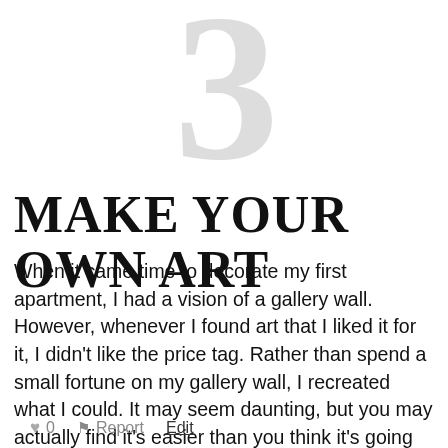3
MAKE YOUR OWN ART
When it came time to decorate my first apartment, I had a vision of a gallery wall. However, whenever I found art that I liked it for it, I didn't like the price tag. Rather than spend a small fortune on my gallery wall, I recreated what I could. It may seem daunting, but you may actually find it's easier than you think it's going to be, and maybe even relaxing!
♥ 0   ⚑ Report   Edit